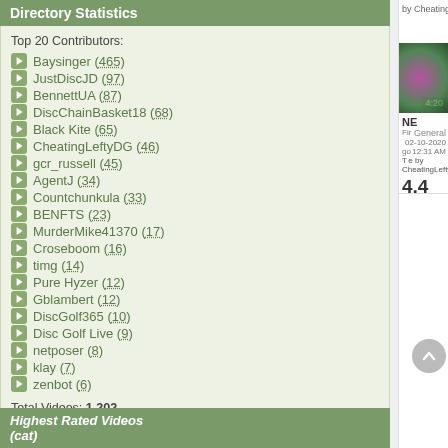Directory Statistics
Top 20 Contributors:
Baysinger (465)
JustDiscJD (97)
BennettUA (87)
DiscChainBasket18 (68)
Black Kite (65)
CheatingLeftyDG (46)
gcr_russell (45)
AgentJ (34)
Countchunkula (33)
BENFTS (23)
MurderMike41370 (17)
Croseboom (16)
timg (14)
Pure Hyzer (12)
Gblambert (12)
DiscGolf365 (10)
Disc Golf Live (9)
netposer (8)
klay (7)
zenbot (6)
Total Videos: 1,202
Total Categories: 4
Highest Rated Videos (cat)
[Figure (screenshot): Partial screenshot of a video row showing a thumbnail with 4:20 duration label and text including NE, General, 02-10-2020, 12:31 AM, by CheatingLeftyDG, views 4,4...]